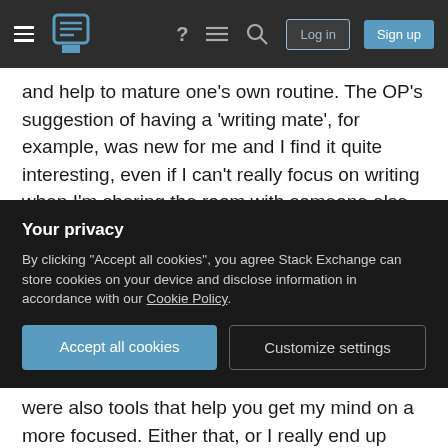Stack Exchange navigation bar with logo, login and sign up buttons
and help to mature one's own routine. The OP's suggestion of having a 'writing mate', for example, was new for me and I find it quite interesting, even if I can't really focus on writing when I'm sharing the room with someone else (but knowing someone else is working hard in the next room, on the other hand, might still work as motivation).
But let's talk about easily distracted minds. I'm one, and I'm not. If I have a scene burning inside me, I am capable of sitting at the computer and working for over eight hours without a stop. I won't notice
Your privacy
By clicking "Accept all cookies", you agree Stack Exchange can store cookies on your device and disclose information in accordance with our Cookie Policy.
were also tools that help you get my mind on a more focused. Either that, or I really end up napping